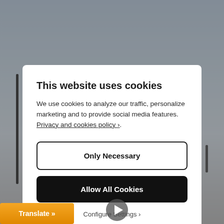[Figure (screenshot): Blurred website background with city/nature scene visible behind a cookie consent modal overlay]
This website uses cookies
We use cookies to analyze our traffic, personalize marketing and to provide social media features. Privacy and cookies policy ›.
Only Necessary
Allow All Cookies
Configure Settings ›
Translate »